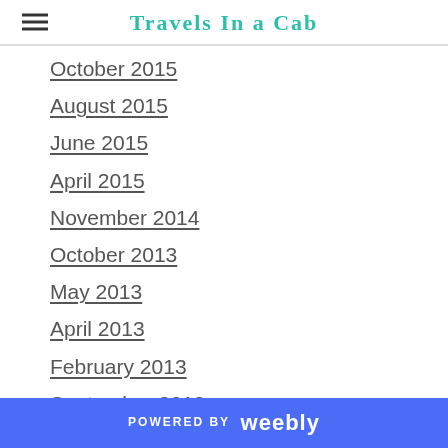Travels In a Cab
October 2015
August 2015
June 2015
April 2015
November 2014
October 2013
May 2013
April 2013
February 2013
September 2012
August 2012
May 2012
April 2012
POWERED BY weebly